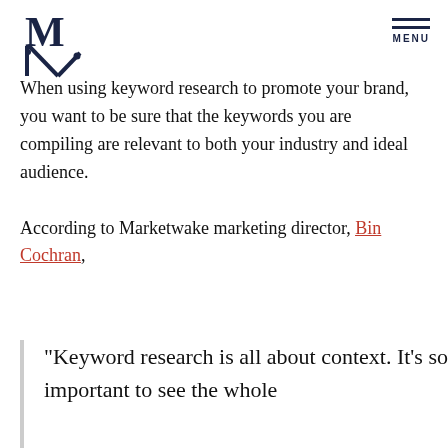Logo and MENU navigation header
When using keyword research to promote your brand, you want to be sure that the keywords you are compiling are relevant to both your industry and ideal audience.
According to Marketwake marketing director, Bin Cochran,
“Keyword research is all about context. It’s so important to see the whole